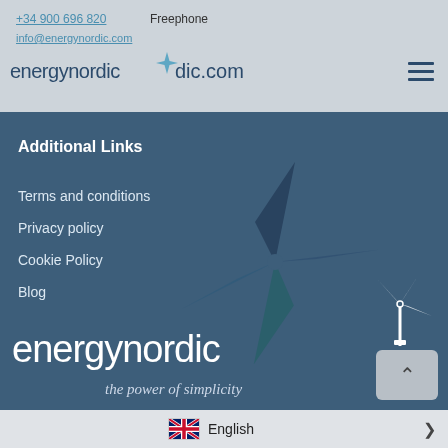+34 900 696 820 Freephone
info@energynordic.com
energynordic
Additional Links
Terms and conditions
Privacy policy
Cookie Policy
Blog
[Figure (logo): energynordic windmill star logo in blue, large background watermark]
[Figure (logo): energynordic small windmill turbine icon top right of footer]
energynordic
the power of simplicity
English